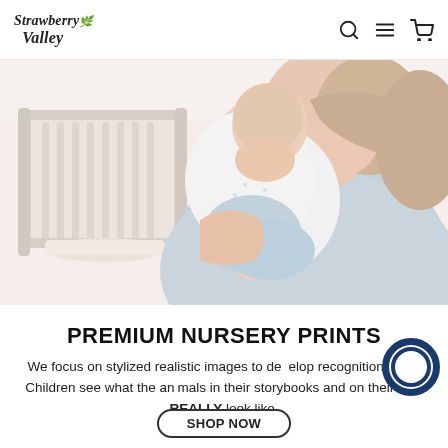Strawberry Valley
[Figure (photo): A mother holding a baby in a nursery setting with a white crib in the background. Light, airy tones with soft pink and blue hues.]
PREMIUM NURSERY PRINTS
We focus on stylized realistic images to develop recognition skills. Children see what the animals in their storybooks and on their toys REALLY look like.